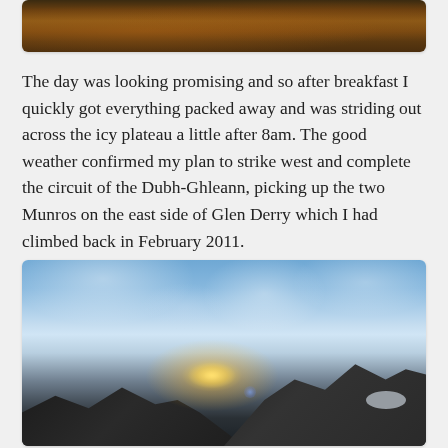[Figure (photo): Partial view of a landscape photo showing autumn-colored hillside terrain, cropped at top of page]
The day was looking promising and so after breakfast I quickly got everything packed away and was striding out across the icy plateau a little after 8am. The good weather confirmed my plan to strike west and complete the circuit of the Dubh-Ghleann, picking up the two Munros on the east side of Glen Derry which I had climbed back in February 2011.
[Figure (photo): Outdoor landscape photograph showing a sunrise or sunset over mountains, with sun rays breaking through the horizon between dark mountain ridges, blue sky with clouds above, and lens flare visible]